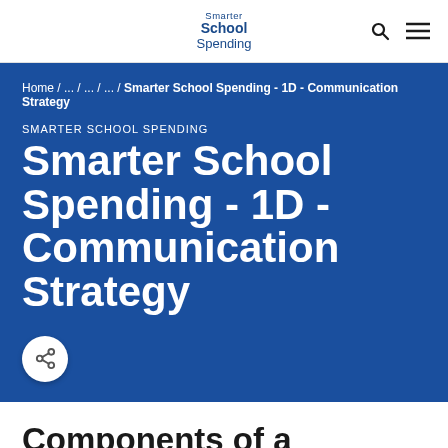Smarter School Spending
Home / ... / ... / ... / Smarter School Spending - 1D - Communication Strategy
SMARTER SCHOOL SPENDING
Smarter School Spending - 1D - Communication Strategy
Components of a